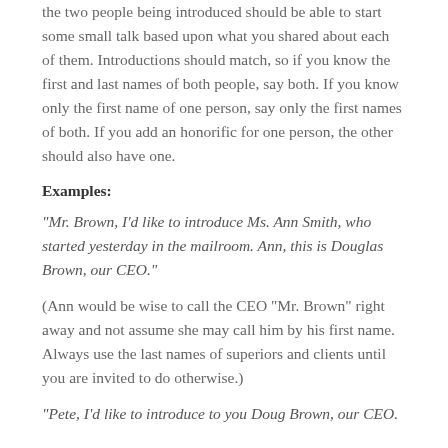the two people being introduced should be able to start some small talk based upon what you shared about each of them. Introductions should match, so if you know the first and last names of both people, say both. If you know only the first name of one person, say only the first names of both. If you add an honorific for one person, the other should also have one.
Examples:
“Mr. Brown, I’d like to introduce Ms. Ann Smith, who started yesterday in the mailroom. Ann, this is Douglas Brown, our CEO.”
(Ann would be wise to call the CEO “Mr. Brown” right away and not assume she may call him by his first name. Always use the last names of superiors and clients until you are invited to do otherwise.)
“Pete, I’d like to introduce to you Doug Brown, our CEO.